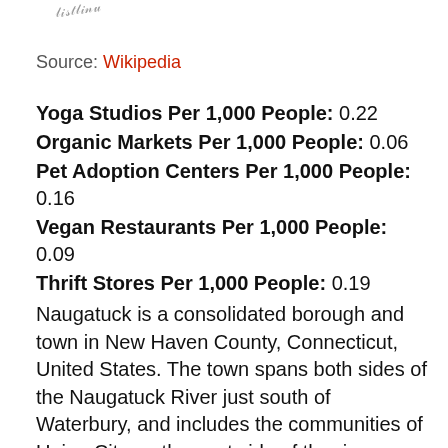[Figure (illustration): Handwritten signature or scribble in light gray]
Source: Wikipedia
Yoga Studios Per 1,000 People: 0.22
Organic Markets Per 1,000 People: 0.06
Pet Adoption Centers Per 1,000 People: 0.16
Vegan Restaurants Per 1,000 People: 0.09
Thrift Stores Per 1,000 People: 0.19
Naugatuck is a consolidated borough and town in New Haven County, Connecticut, United States. The town spans both sides of the Naugatuck River just south of Waterbury, and includes the communities of Union City on the east side of the river, which has its own post office, Straitsville on the southeast (along Route 63), and Millville on the west (along